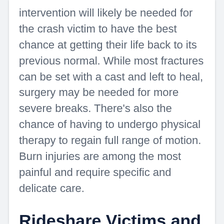intervention will likely be needed for the crash victim to have the best chance at getting their life back to its previous normal. While most fractures can be set with a cast and left to heal, surgery may be needed for more severe breaks. There's also the chance of having to undergo physical therapy to regain full range of motion. Burn injuries are among the most painful and require specific and delicate care.
Rideshare Victims and Compensation Eligibility